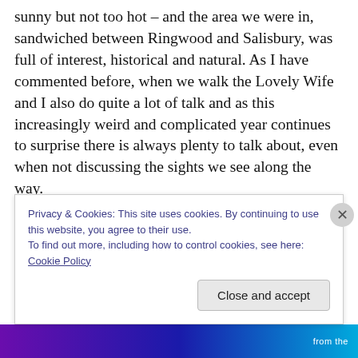sunny but not too hot – and the area we were in, sandwiched between Ringwood and Salisbury, was full of interest, historical and natural. As I have commented before, when we walk the Lovely Wife and I also do quite a lot of talk and as this increasingly weird and complicated year continues to surprise there is always plenty to talk about, even when not discussing the sights we see along the way.

One ritual is the review of the day, for both where we went, what we saw and what surprised and delighted. Sunday
Privacy & Cookies: This site uses cookies. By continuing to use this website, you agree to their use.
To find out more, including how to control cookies, see here: Cookie Policy